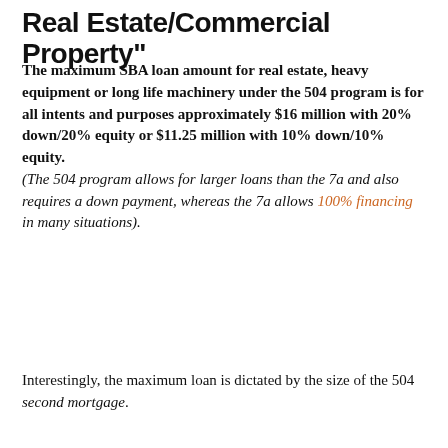Real Estate/Commercial Property"
The maximum SBA loan amount for real estate, heavy equipment or long life machinery under the 504 program is for all intents and purposes approximately $16 million with 20% down/20% equity or $11.25 million with 10% down/10% equity. (The 504 program allows for larger loans than the 7a and also requires a down payment, whereas the 7a allows 100% financing in many situations).
Interestingly, the maximum loan is dictated by the size of the 504 second mortgage.